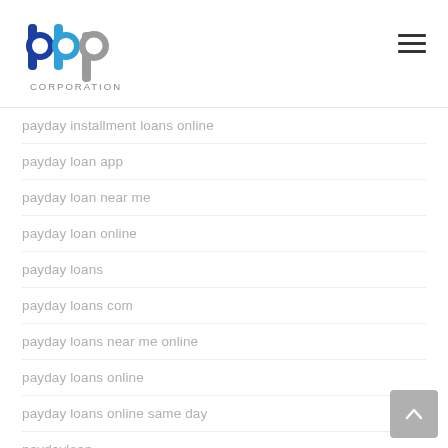bbp CORPORATION
payday installment loans online
payday loan app
payday loan near me
payday loan online
payday loans
payday loans com
payday loans near me online
payday loans online
payday loans online same day
paydayloan